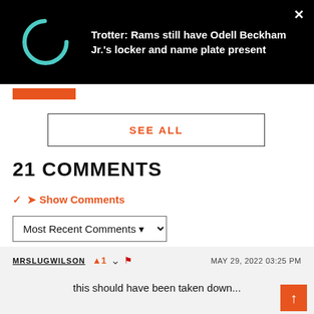[Figure (screenshot): Black banner at top with a teal loading spinner circle on the left and article title text on the right, with an X close button in top-right corner]
Trotter: Rams still have Odell Beckham Jr.'s locker and name plate present
SEE ALL
21 COMMENTS
Show Comments
Most Recent Comments
MRSLUGWILSON  ▲1  ▾  🚩  MAY 29, 2022 03:25 PM
this should have been taken down...